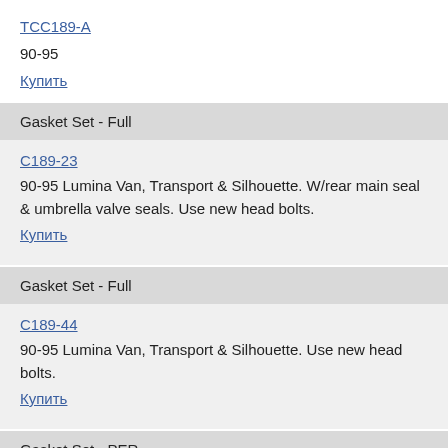TCC189-A
90-95
Купить
Gasket Set - Full
C189-23
90-95 Lumina Van, Transport & Silhouette. W/rear main seal & umbrella valve seals. Use new head bolts.
Купить
Gasket Set - Full
C189-44
90-95 Lumina Van, Transport & Silhouette. Use new head bolts.
Купить
Gasket Set - PER